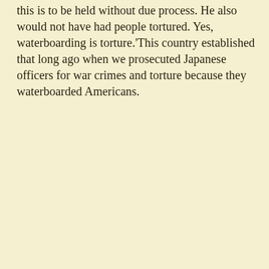this is to be held without due process. He also would not have had people tortured. Yes, waterboarding is torture.'This country established that long ago when we prosecuted Japanese officers for war crimes and torture because they waterboarded Americans.